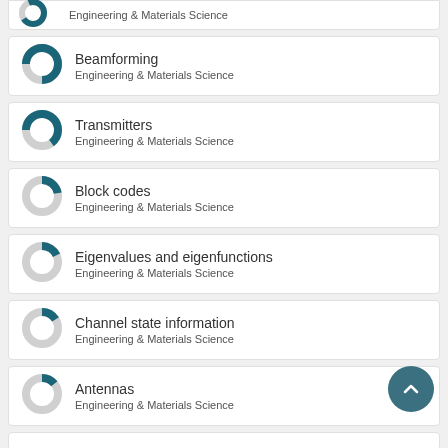Beamforming
Engineering & Materials Science
Transmitters
Engineering & Materials Science
Block codes
Engineering & Materials Science
Eigenvalues and eigenfunctions
Engineering & Materials Science
Channel state information
Engineering & Materials Science
Antennas
Engineering & Materials Science